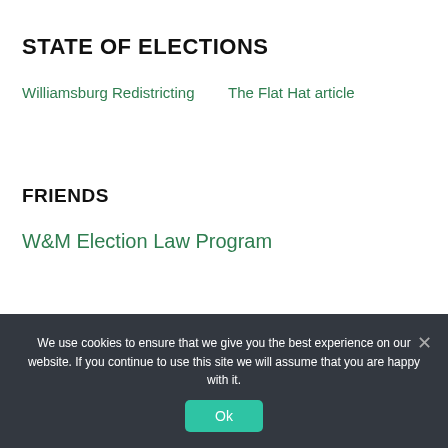STATE OF ELECTIONS
Williamsburg Redistricting
The Flat Hat  article
FRIENDS
W&M Election Law Program
We use cookies to ensure that we give you the best experience on our website. If you continue to use this site we will assume that you are happy with it.